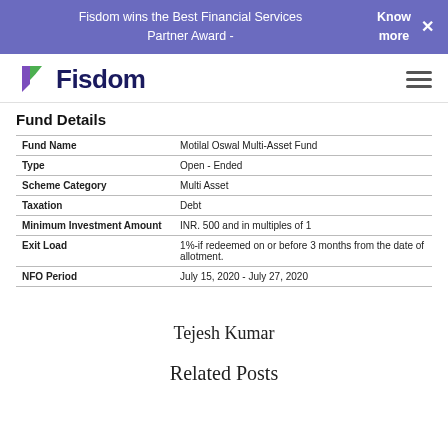Fisdom wins the Best Financial Services Partner Award -  Know more  ×
[Figure (logo): Fisdom logo with purple and green bookmark icon and dark blue bold text 'Fisdom']
Fund Details
|  |  |
| --- | --- |
| Fund Name | Motilal Oswal Multi-Asset Fund |
| Type | Open - Ended |
| Scheme Category | Multi Asset |
| Taxation | Debt |
| Minimum Investment Amount | INR. 500 and in multiples of 1 |
| Exit Load | 1%-if redeemed on or before 3 months from the date of allotment. |
| NFO Period | July 15, 2020 - July 27, 2020 |
Tejesh Kumar
Related Posts